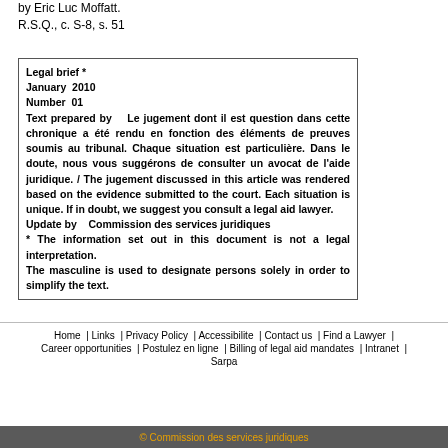by Eric Luc Moffatt.
R.S.Q., c. S-8, s. 51
| Legal brief * |
| January  2010 |
| Number  01 |
| Text prepared by    Le jugement dont il est question dans cette chronique a été rendu en fonction des éléments de preuves soumis au tribunal. Chaque situation est particulière. Dans le doute, nous vous suggérons de consulter un avocat de l'aide juridique. / The jugement discussed in this article was rendered based on the evidence submitted to the court. Each situation is unique. If in doubt, we suggest you consult a legal aid lawyer. |
| Update by    Commission des services juridiques |
| * The information set out in this document is not a legal interpretation. |
| The masculine is used to designate persons solely in order to simplify the text. |
Home  | Links  | Privacy Policy  | Accessibilite  | Contact us  | Find a Lawyer  | Career opportunities  | Postulez en ligne  | Billing of legal aid mandates  | Intranet Sarpa
© Commission des services juridiques